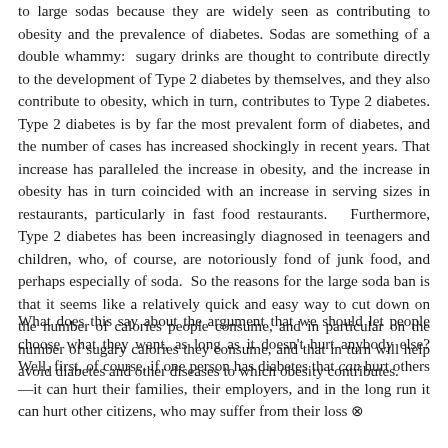to large sodas because they are widely seen as contributing to obesity and the prevalence of diabetes. Sodas are something of a double whammy: sugary drinks are thought to contribute directly to the development of Type 2 diabetes by themselves, and they also contribute to obesity, which in turn, contributes to Type 2 diabetes. Type 2 diabetes is by far the most prevalent form of diabetes, and the number of cases has increased shockingly in recent years. That increase has paralleled the increase in obesity, and the increase in obesity has in turn coincided with an increase in serving sizes in restaurants, particularly in fast food restaurants. Furthermore, Type 2 diabetes has been increasingly diagnosed in teenagers and children, who, of course, are notoriously fond of junk food, and perhaps especially of soda. So the reasons for the large soda ban is that it seems like a relatively quick and easy way to cut down on the number of calories people consume, and in particular on the number of sugary calories they consume, and that in turn will help avoid diabetes and other diseases to which obesity contributes.
What does this say about the argument that we should let people choose what they want, as long as it doesn't hurt anybody else? Well, first, of course, if one person has diabetes that can hurt others—it can hurt their families, their employers, and in the long run it can hurt other citizens, who may suffer from their loss